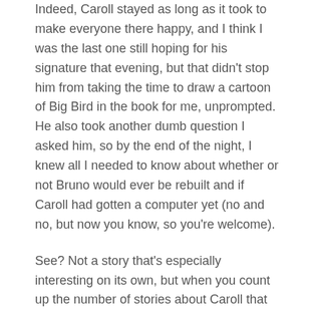Indeed, Caroll stayed as long as it took to make everyone there happy, and I think I was the last one still hoping for his signature that evening, but that didn't stop him from taking the time to draw a cartoon of Big Bird in the book for me, unprompted. He also took another dumb question I asked him, so by the end of the night, I knew all I needed to know about whether or not Bruno would ever be rebuilt and if Caroll had gotten a computer yet (no and no, but now you know, so you're welcome).
See? Not a story that's especially interesting on its own, but when you count up the number of stories about Caroll that you'll find on this page and others across the web this month, you'll find that, together, they tell a story that's truly remarkable. It's the story of a man who played the most iconic and beloved children's character since Mickey without ever gaining a shred of ego. While I hope his immense talent as a performer will never be overlooked, I want it remembered that what enabled Caroll to touch the lives of children of all ages and